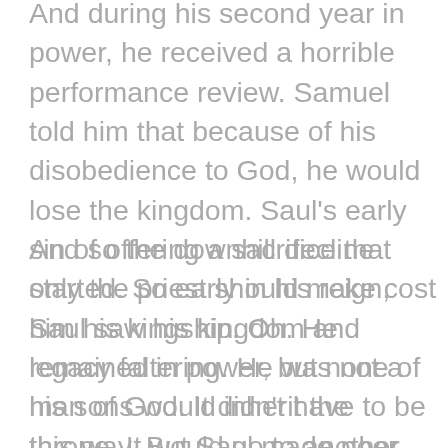And during his second year in power, he received a horrible performance review. Samuel told him that because of his disobedience to God, he would lose the kingdom. Saul's early sin of offering a sacrifice that only the priest should make cost him his kingship. Oh. He remained in power, but none of his sons would inherit the throne. It would go to another.
And so the downhill decline started. So early in his reign, Saul saw his kingdom and legacy faltering. He was not a man of God. It didn't have to be this way. But Saul made poor decisions early on in his reign that began a downward slide of continued disobedience to God's commands. Saul led the nation of Israel poorly, and it showed. His monarchy would come to a screeching halt after his lifetime. It would not be carried down to the next generation. And he